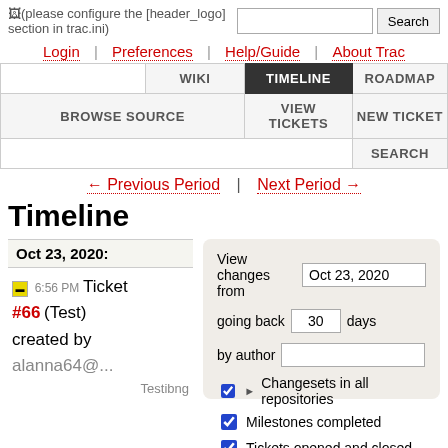(please configure the [header_logo] section in trac.ini)
Login | Preferences | Help/Guide | About Trac
WIKI | TIMELINE | ROADMAP | BROWSE SOURCE | VIEW TICKETS | NEW TICKET | SEARCH
← Previous Period | Next Period →
Timeline
Oct 23, 2020:
6:56 PM Ticket #66 (Test) created by alanna64@...
Testibng
View changes from Oct 23, 2020 going back 30 days by author
☑ ▶ Changesets in all repositories
☑ Milestones completed
☑ Tickets opened and closed
☑ Ticket updates
☑ Wiki changes